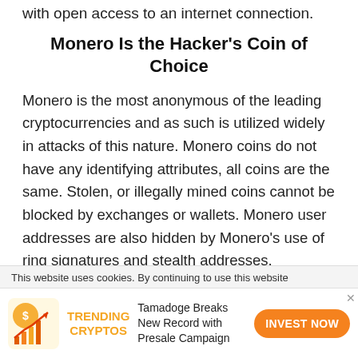with open access to an internet connection.
Monero Is the Hacker's Coin of Choice
Monero is the most anonymous of the leading cryptocurrencies and as such is utilized widely in attacks of this nature. Monero coins do not have any identifying attributes, all coins are the same. Stolen, or illegally mined coins cannot be blocked by exchanges or wallets. Monero user addresses are also hidden by Monero's use of ring signatures and stealth addresses.
This website uses cookies. By continuing to use this website
TRENDING CRYPTOS Tamadoge Breaks New Record with Presale Campaign INVEST NOW